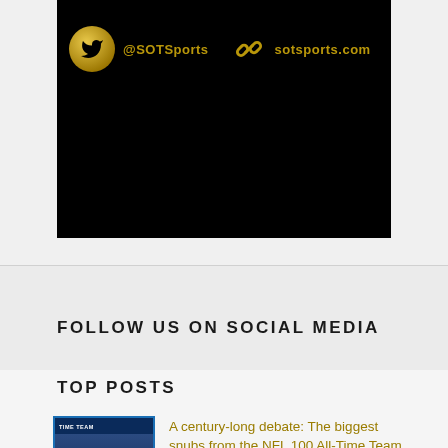[Figure (screenshot): Black banner with gold Twitter bird icon in gold circle, @SOTSports handle, gold chain-link icon, and sotsports.com text, all in gold color on black background]
FOLLOW US ON SOCIAL MEDIA
[Figure (illustration): Gold Facebook icon and gold Twitter bird icon for social media follow links]
TOP POSTS
[Figure (screenshot): Thumbnail of NFL Time Team panel show screenshot]
A century-long debate: The biggest snubs from the NFL 100 All-Time Team